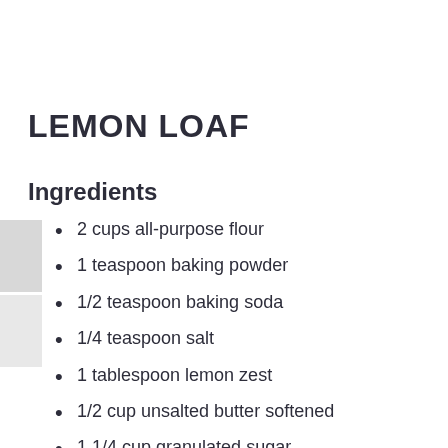LEMON LOAF
Ingredients
2 cups all-purpose flour
1 teaspoon baking powder
1/2 teaspoon baking soda
1/4 teaspoon salt
1 tablespoon lemon zest
1/2 cup unsalted butter softened
1 1/4 cup granulated sugar